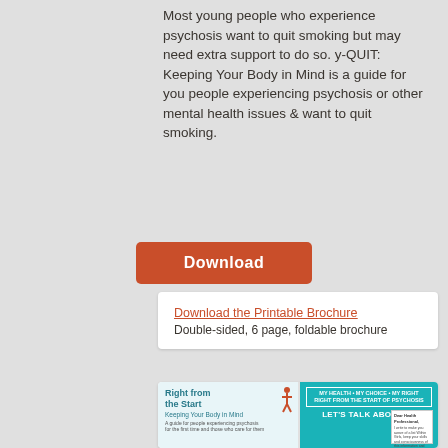Most young people who experience psychosis want to quit smoking but may need extra support to do so. y-QUIT: Keeping Your Body in Mind is a guide for you people experiencing psychosis or other mental health issues & want to quit smoking.
[Figure (illustration): Orange Download button]
Download the Printable Brochure
Double-sided, 6 page, foldable brochure
[Figure (illustration): Two brochure thumbnails: 'Right from the Start - Keeping Your Body in Mind' (teal/white cover) and a teal brochure 'My Health - My Choice - My Right, Right from the Start of Psychosis, Let's Talk About It!' with a letter to a health professional]